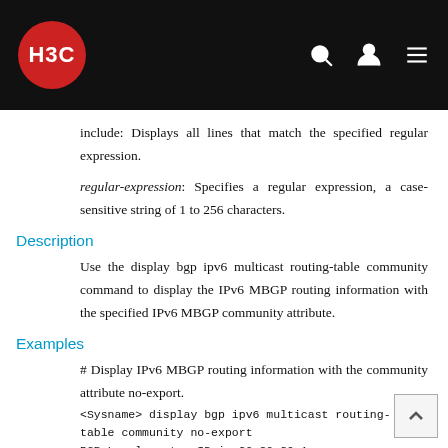H3C
include: Displays all lines that match the specified regular expression.
regular-expression: Specifies a regular expression, a case-sensitive string of 1 to 256 characters.
Description
Use the display bgp ipv6 multicast routing-table community command to display the IPv6 MBGP routing information with the specified IPv6 MBGP community attribute.
Examples
# Display IPv6 MBGP routing information with the community attribute no-export.
<Sysname> display bgp ipv6 multicast routing-table community no-export
BGP Local router ID is 30.30.30.1
 Status codes: * - valid, ^ - VPNv4 best, > -